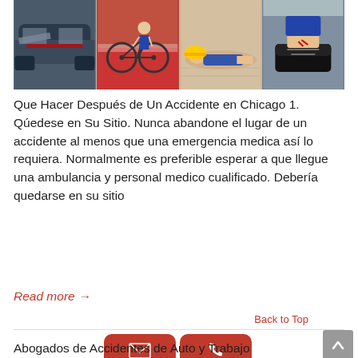[Figure (photo): Collage of four accident-related photos: crashed car, bicycle on red lane, person lying on ground with yellow construction helmet, person with injured foot]
Que Hacer Después de Un Accidente en Chicago 1. Qúedese en Su Sitio. Nunca abandone el lugar de un accidente al menos que una emergencia medica así lo requiera. Normalmente es preferible esperar a que llegue una ambulancia y personal medico cualificado. Debería quedarse en su sitio
Read more →
Back to Top
[Figure (infographic): Two red CTA buttons: 'Contáctenos' with envelope icon and 'Llame Ahora' with phone icon]
Abogados de Accidentes de Auto y Trabajo Chicago